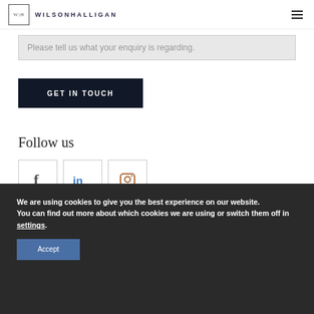W|H WILSONHALLIGAN
Please tell us what your enquiry is regarding.
GET IN TOUCH
Follow us
[Figure (other): Social media icons: Facebook (f), LinkedIn (in), Instagram (camera icon)]
We are using cookies to give you the best experience on our website.
You can find out more about which cookies we are using or switch them off in settings.
Accept